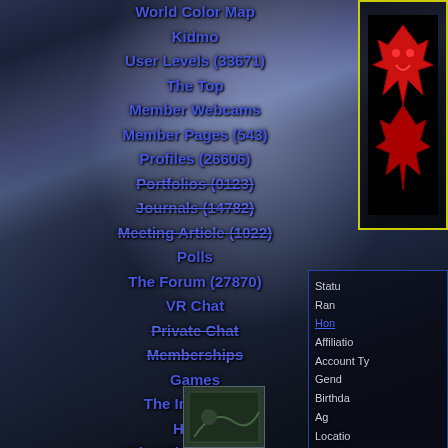[Figure (screenshot): Dark atmospheric background with stormy sky and bare trees in a misty landscape]
World Color Map
Kidmo
User Levels (33671)
The Top
Member Webcams
Member Pages (543)
Profiles (26606)
Portfolios (0123)
Journals (14782)
Meeting Article (1022)
Polls
The Forum (27870)
VR Chat
Private Chat
Memberships
Games
The Immortals
Honor
What They're Doing
Status
Rank
Honor
Affiliation
Account Type
Gender
Birthday
Age
Location
[Figure (photo): Small thumbnail image at bottom center]